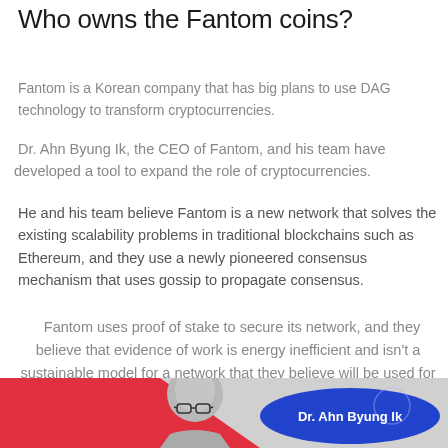Who owns the Fantom coins?
Fantom is a Korean company that has big plans to use DAG technology to transform cryptocurrencies.
Dr. Ahn Byung Ik, the CEO of Fantom, and his team have developed a tool to expand the role of cryptocurrencies.
He and his team believe Fantom is a new network that solves the existing scalability problems in traditional blockchains such as Ethereum, and they use a newly pioneered consensus mechanism that uses gossip to propagate consensus.
Fantom uses proof of stake to secure its network, and they believe that evidence of work is energy inefficient and isn't a sustainable model for a network that they believe will be used for a long time to come.
[Figure (photo): Photo of Dr. Ahn Byung Ik with a red and gray background, with a blue oval label reading 'Dr. Ahn Byung Ik']